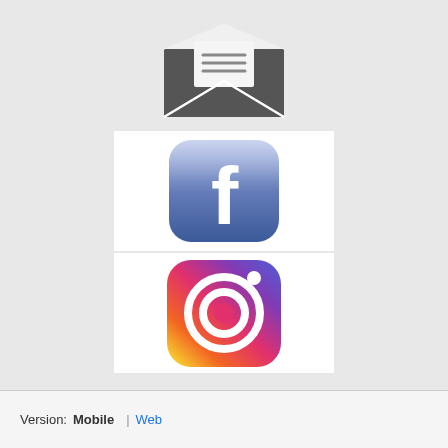[Figure (logo): Dark gray open envelope icon with letter lines visible inside]
[Figure (logo): Facebook app icon: rounded square with blue gradient background and white lowercase f]
[Figure (logo): Instagram app icon: rounded square with purple-to-orange gradient and white camera outline]
Version: Mobile | Web